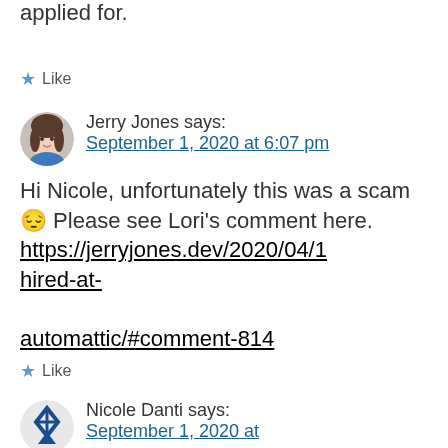applied for.
★ Like
Jerry Jones says: September 1, 2020 at 6:07 pm
Hi Nicole, unfortunately this was a scam 😔 Please see Lori's comment here. https://jerryjones.dev/2020/04/1... hired-at-automattic/#comment-814
★ Like
Nicole Danti says: September 1, 2020 at